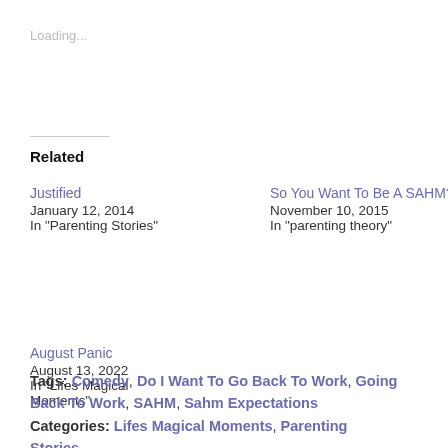Loading...
Related
Justified
January 12, 2014
In "Parenting Stories"
So You Want To Be A SAHM?
November 10, 2015
In "parenting theory"
August Panic
August 13, 2022
In "Lifes Magical Moments"
Tags: Comedy, Do I Want To Go Back To Work, Going Back To Work, SAHM, Sahm Expectations Categories: Lifes Magical Moments, Parenting Stories